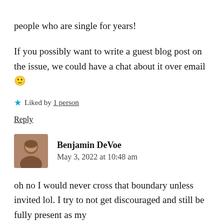people who are single for years!
If you possibly want to write a guest blog post on the issue, we could have a chat about it over email 🙂
★ Liked by 1 person
Reply
Benjamin DeVoe
May 3, 2022 at 10:48 am
oh no I would never cross that boundary unless invited lol. I try to not get discouraged and still be fully present as my